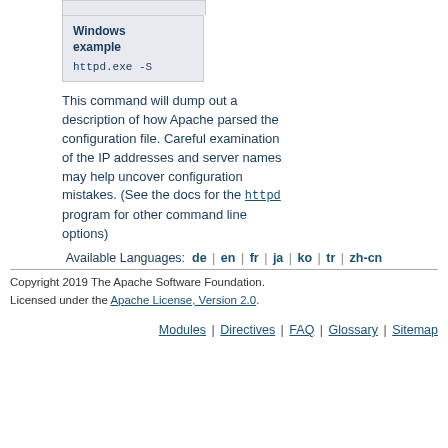Windows example
httpd.exe -S
This command will dump out a description of how Apache parsed the configuration file. Careful examination of the IP addresses and server names may help uncover configuration mistakes. (See the docs for the httpd program for other command line options)
Available Languages: de | en | fr | ja | ko | tr | zh-cn
Copyright 2019 The Apache Software Foundation. Licensed under the Apache License, Version 2.0.
Modules | Directives | FAQ | Glossary | Sitemap